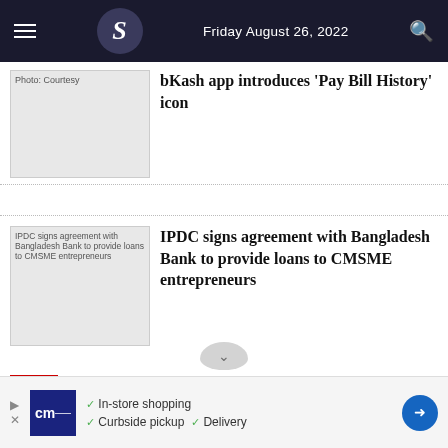Friday August 26, 2022
[Figure (photo): Photo: Courtesy — image thumbnail for bKash article]
bKash app introduces 'Pay Bill History' icon
[Figure (photo): IPDC signs agreement with Bangladesh Bank to provide loans to CMSME entrepreneurs — article thumbnail]
IPDC signs agreement with Bangladesh Bank to provide loans to CMSME entrepreneurs
RELATED NEWS
Expats to get higher insurance coverage, job loss